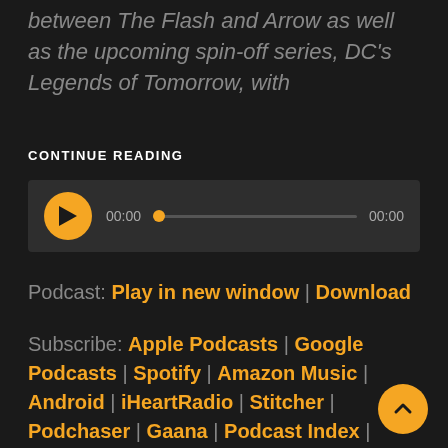between The Flash and Arrow as well as the upcoming spin-off series, DC's Legends of Tomorrow, with
CONTINUE READING
[Figure (other): Audio player widget with play button, time display 00:00, progress bar, and end time 00:00]
Podcast: Play in new window | Download
Subscribe: Apple Podcasts | Google Podcasts | Spotify | Amazon Music | Android | iHeartRadio | Stitcher | Podchaser | Gaana | Podcast Index | TuneIn